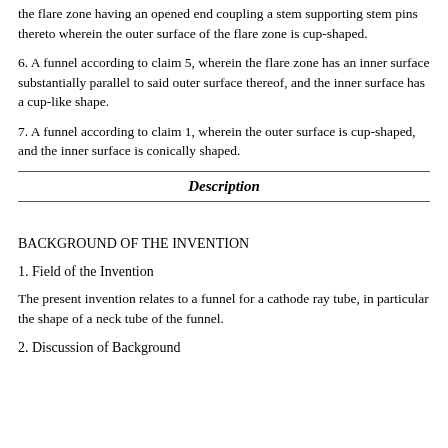the flare zone having an opened end coupling a stem supporting stem pins thereto wherein the outer surface of the flare zone is cup-shaped.
6. A funnel according to claim 5, wherein the flare zone has an inner surface substantially parallel to said outer surface thereof, and the inner surface has a cup-like shape.
7. A funnel according to claim 1, wherein the outer surface is cup-shaped, and the inner surface is conically shaped.
Description
BACKGROUND OF THE INVENTION
1. Field of the Invention
The present invention relates to a funnel for a cathode ray tube, in particular the shape of a neck tube of the funnel.
2. Discussion of Background